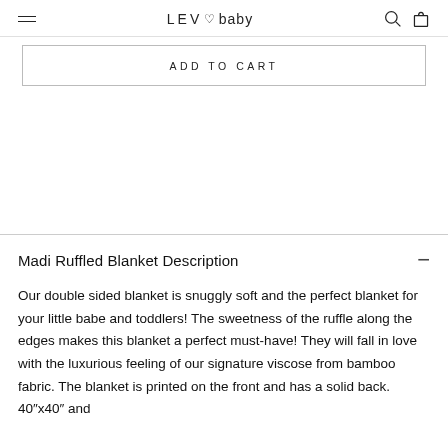LEV ♡ baby
ADD TO CART
Madi Ruffled Blanket Description
Our double sided blanket is snuggly soft and the perfect blanket for your little babe and toddlers! The sweetness of the ruffle along the edges makes this blanket a perfect must-have! They will fall in love with the luxurious feeling of our signature viscose from bamboo fabric. The blanket is printed on the front and has a solid back. 40⋅29x40⋅29 and